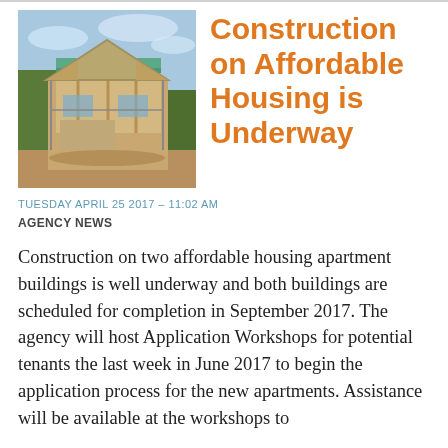[Figure (photo): Photograph of a house under construction showing wood framing, teal/green sheathing on the upper floor, open window openings, and a dirt ground with construction debris in the foreground, with bare trees in the background under a partly cloudy sky.]
Construction on Affordable Housing is Underway
TUESDAY APRIL 25 2017 – 11:02 AM
AGENCY NEWS
Construction on two affordable housing apartment buildings is well underway and both buildings are scheduled for completion in September 2017. The agency will host Application Workshops for potential tenants the last week in June 2017 to begin the application process for the new apartments. Assistance will be available at the workshops to